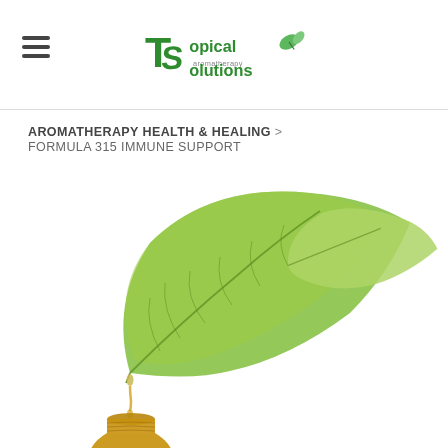Topical Solutions
AROMATHERAPY HEALTH & HEALING > FORMULA 315 IMMUNE SUPPORT
[Figure (photo): Green leaf dripping liquid into an amber glass essential oil bottle on white background]